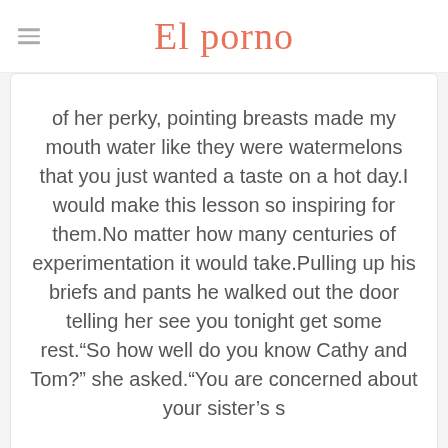El porno
of her perky, pointing breasts made my mouth water like they were watermelons that you just wanted a taste on a hot day.I would make this lesson so inspiring for them.No matter how many centuries of experimentation it would take.Pulling up his briefs and pants he walked out the door telling her see you tonight get some rest.“So how well do you know Cathy and Tom?” she asked.“You are concerned about your sister’s s
I sank into her hot depths.“Yes!”Let’s not call it blackmail, more like saving you from total